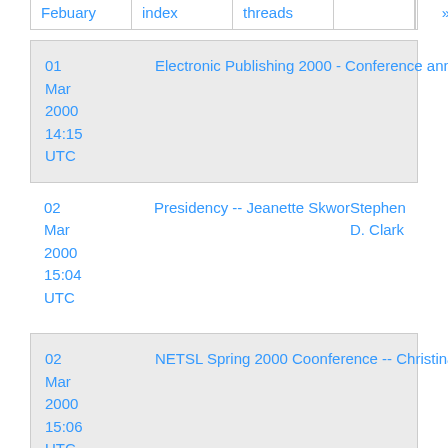| Febuary | index | threads |  | » |
| --- | --- | --- | --- | --- |
| 01 Mar 2000 14:15 UTC | Electronic Publishing 2000 - Conference announcement and CfP | Stephen D. Clark |
| 02 Mar 2000 15:04 UTC | Presidency -- Jeanette Skwor | Stephen D. Clark |
| 02 Mar 2000 15:06 UTC | NETSL Spring 2000 Coonference -- Christina Bellinger | Stephen D. Clark |